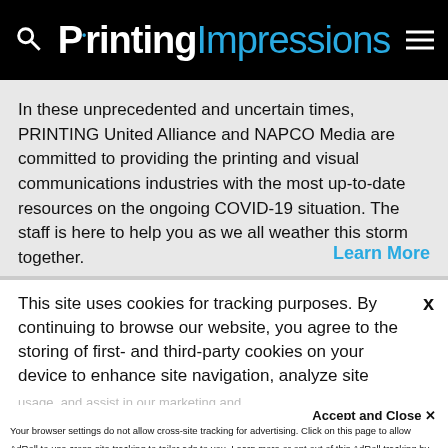Printing Impressions
In these unprecedented and uncertain times, PRINTING United Alliance and NAPCO Media are committed to providing the printing and visual communications industries with the most up-to-date resources on the ongoing COVID-19 situation. The staff is here to help you as we all weather this storm together.
Learn More
This site uses cookies for tracking purposes. By continuing to browse our website, you agree to the storing of first- and third-party cookies on your device to enhance site navigation, analyze site usage, and assist in our marketing and
Accept and Close ✕
Your browser settings do not allow cross-site tracking for advertising. Click on this page to allow AdRoll to use cross-site tracking to tailor ads to you. Learn more or opt out of this AdRoll tracking by clicking here. This message only appears once.